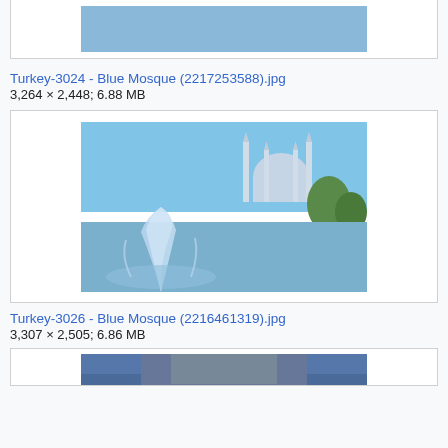[Figure (photo): Thumbnail of Turkey-3024 Blue Mosque photo showing mosque with minarets, green trees, and fountain in foreground with blue sky]
Turkey-3024 - Blue Mosque (2217253588).jpg
3,264 × 2,448; 6.88 MB
[Figure (photo): Thumbnail of Turkey-3026 Blue Mosque photo showing large fountain in foreground with mosque and minarets behind it against blue sky]
Turkey-3026 - Blue Mosque (2216461319).jpg
3,307 × 2,505; 6.86 MB
[Figure (photo): Partial thumbnail of another Blue Mosque photo, cropped at bottom of page]